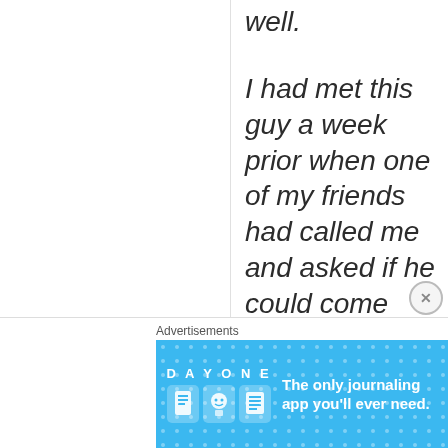well.
I had met this guy a week prior when one of my friends had called me and asked if he could come over with a friend for a drink. I had been
Advertisements
[Figure (infographic): DAY ONE journaling app advertisement banner with blue background, app icon, and tagline 'The only journaling app you'll ever need.']